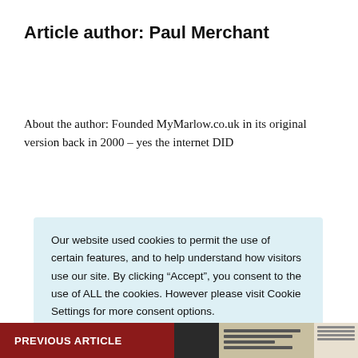Article author: Paul Merchant
About the author: Founded MyMarlow.co.uk in its original version back in 2000 - yes the internet DID
Our website used cookies to permit the use of certain features, and to help understand how visitors use our site. By clicking “Accept”, you consent to the use of ALL the cookies. However please visit Cookie Settings for more consent options.
Cookie settings
ACCEPT
PREVIOUS ARTICLE